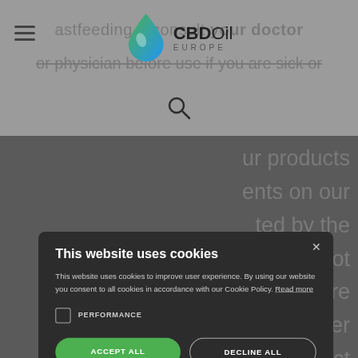CBDOil EUROPE
astfeeding... consult your doctor or physician before use if you are sick or...
[Figure (screenshot): Cookie consent modal dialog on CBDOil Europe website. Modal contains title 'This website uses cookies', body text about cookie policy, a PERFORMANCE checkbox, ACCEPT ALL and DECLINE ALL buttons, SHOW DETAILS link, and POWERED BY COOKIE-SCRIPT footer.]
This website uses cookies
This website uses cookies to improve user experience. By using our website you consent to all cookies in accordance with our Cookie Policy. Read more
PERFORMANCE
ACCEPT ALL
DECLINE ALL
SHOW DETAILS
POWERED BY COOKIE-SCRIPT
ur products ents on our ted by the are not e or cure e to other indirect nt of the but are only intended to provide information that may